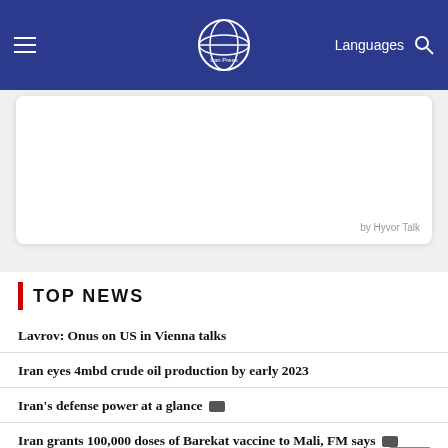Iran Press — Languages
[Figure (other): Advertisement box with 'by Hyvor Talk' credit]
by Hyvor Talk
TOP NEWS
Lavrov: Onus on US in Vienna talks
Iran eyes 4mbd crude oil production by early 2023
Iran's defense power at a glance [video]
Iran grants 100,000 doses of Barekat vaccine to Mali, FM says [video]
Avicenna; What Iran is known for